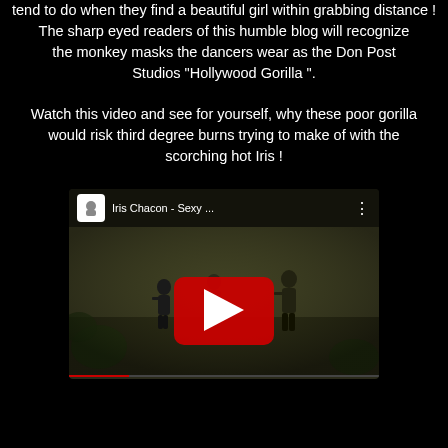tend to do when they find a beautiful girl within grabbing distance ! The sharp eyed readers of this humble blog will recognize the monkey masks the dancers wear as the Don Post Studios "Hollywood Gorilla ".
Watch this video and see for yourself, why these poor gorilla would risk third degree burns trying to make of with the scorching hot Iris !
[Figure (screenshot): YouTube video thumbnail showing 'Iris Chacon - Sexy ...' with a red YouTube play button overlaid on a scene of dancers in a dark outdoor setting.]